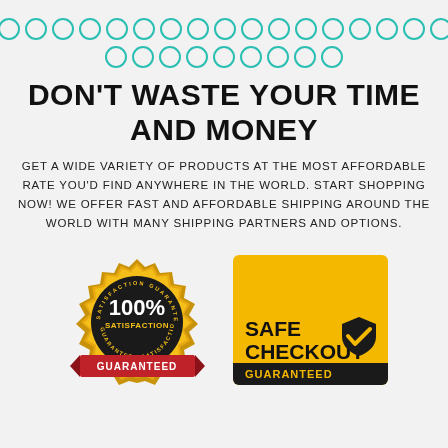[Figure (illustration): Two rows of teal/turquoise open circles arranged decoratively at the top of the page]
DON'T WASTE YOUR TIME AND MONEY
GET A WIDE VARIETY OF PRODUCTS AT THE MOST AFFORDABLE RATE YOU'D FIND ANYWHERE IN THE WORLD. START SHOPPING NOW! WE OFFER FAST AND AFFORDABLE SHIPPING AROUND THE WORLD WITH MANY SHIPPING PARTNERS AND OPTIONS.
[Figure (illustration): 100% Satisfaction Guaranteed badge - gold and black circular seal with red ribbon at bottom]
[Figure (illustration): Safe Checkout Guaranteed badge - yellow/gold rectangle with black shield checkmark icon and dark bottom bar]